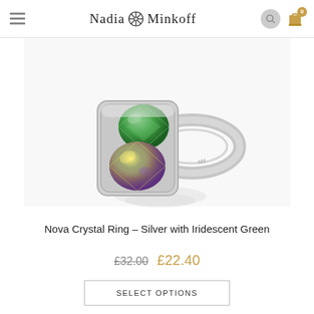Nadia Minkoff
[Figure (photo): A silver Nova Crystal Ring with iridescent green and multicolor crystals set in a rectangular silver bezel, with a slim silver band. Reflection visible below the ring on a white background.]
Nova Crystal Ring – Silver with Iridescent Green
£32.00  £22.40